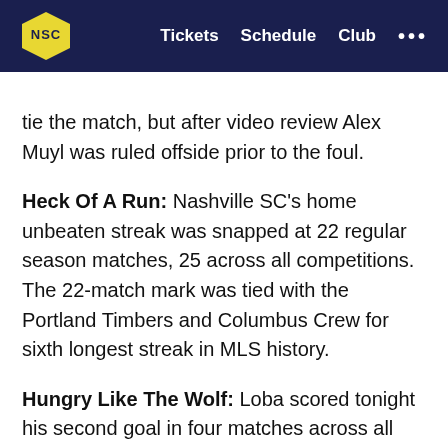Tickets  Schedule  Club  ...
tie the match, but after video review Alex Muyl was ruled offside prior to the foul.
Heck Of A Run: Nashville SC's home unbeaten streak was snapped at 22 regular season matches, 25 across all competitions. The 22-match mark was tied with the Portland Timbers and Columbus Crew for sixth longest streak in MLS history.
Hungry Like The Wolf: Loba scored tonight his second goal in four matches across all competitions this season, following his tally against Louisville City FC on May 25 in the Lamar Hunt U.S. Open Cup.